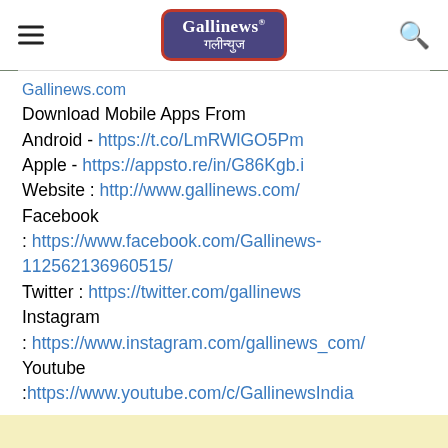Gallinews गलीन्युज
Gallinews.com
Download Mobile Apps From
Android - https://t.co/LmRWlGO5Pm
Apple - https://appsto.re/in/G86Kgb.i
Website : http://www.gallinews.com/
Facebook : https://www.facebook.com/Gallinews-112562136960515/
Twitter : https://twitter.com/gallinews
Instagram : https://www.instagram.com/gallinews_com/
Youtube :https://www.youtube.com/c/GallinewsIndia